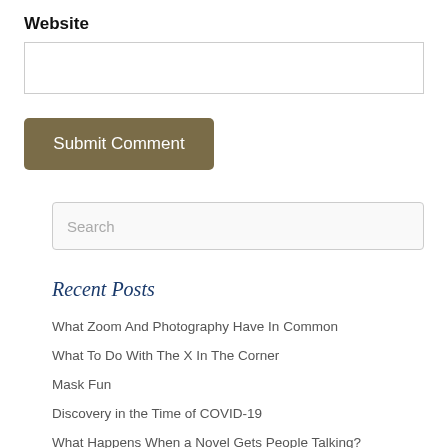Website
[Figure (other): Website text input field (empty)]
[Figure (other): Submit Comment button]
[Figure (other): Search input field with placeholder text 'Search']
Recent Posts
What Zoom And Photography Have In Common
What To Do With The X In The Corner
Mask Fun
Discovery in the Time of COVID-19
What Happens When a Novel Gets People Talking?